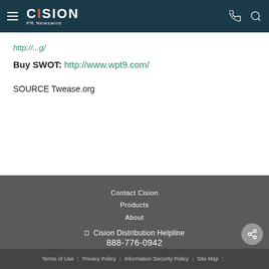Cision PR Newswire
http://...
Buy SWOT: http://www.wpt9.com/
SOURCE Twease.org
Contact Cision | Products | About | My Services
Cision Distribution Helpline 888-776-0942
Terms of Use | Privacy Policy | Information Security Policy | Site Map